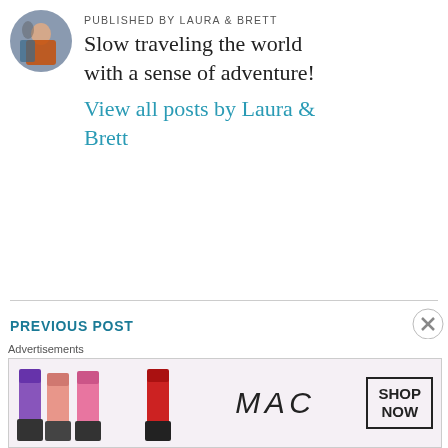[Figure (photo): Circular avatar photo of two people outdoors, one in orange jacket]
PUBLISHED BY LAURA & BRETT
Slow traveling the world with a sense of adventure!
View all posts by Laura & Brett
PREVIOUS POST
Five Frugal Things: 5/19/2017
NEXT POST
Advertisements
[Figure (photo): MAC cosmetics advertisement banner showing lipsticks and MAC logo with SHOP NOW button]